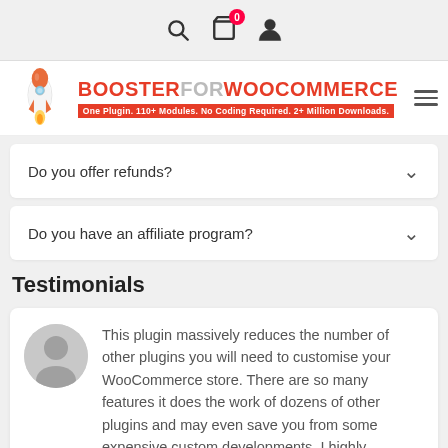Navigation bar with search, cart (0 items), and user icon
[Figure (logo): Booster for WooCommerce logo with rocket icon. Text: BOOSTERFORWOOCOMMERCE. Subtitle: One Plugin. 110+ Modules. No Coding Required. 2+ Million Downloads.]
Do you offer refunds?
Do you have an affiliate program?
Testimonials
This plugin massively reduces the number of other plugins you will need to customise your WooCommerce store. There are so many features it does the work of dozens of other plugins and may even save you from some expensive custom developments. I highly recommend it